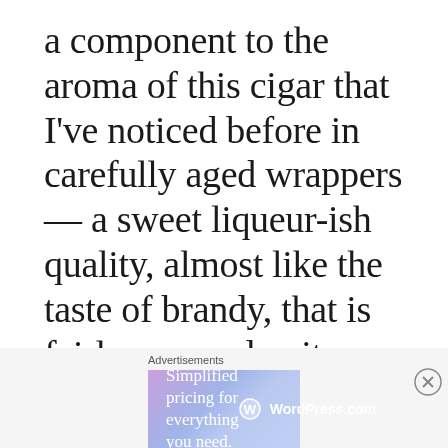a component to the aroma of this cigar that I've noticed before in carefully aged wrappers — a sweet liqueur-ish quality, almost like the taste of brandy, that is fairly rare and quite enjoyable. The smoke is thick and creamy in texture. The robusto is much smoother than the half
Advertisements
[Figure (other): WordPress.com advertisement banner with gradient purple-blue background. Text: 'Simplified pricing for everything you need.' with WordPress.com logo on the right.]